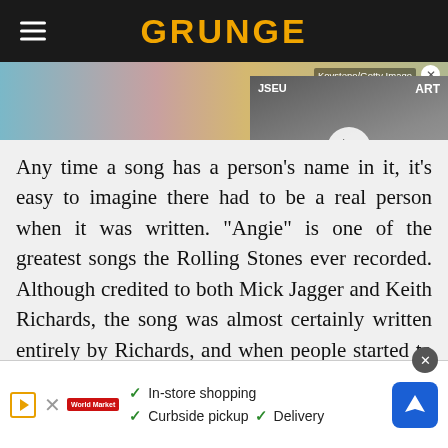GRUNGE
[Figure (photo): Hero image with colorful background (partial person visible) and a video thumbnail overlay showing a smiling man in sunglasses with a play button]
Any time a song has a person's name in it, it's easy to imagine there had to be a real person when it was written. "Angie" is one of the greatest songs the Rolling Stones ever recorded. Although credited to both Mick Jagger and Keith Richards, the song was almost certainly written entirely by Richards, and when people started to wonder who Richards might have written this plaintive love song about, they didn't have any shortage of suspects.
[Figure (screenshot): Advertisement bar showing In-store shopping, Curbside pickup, and Delivery options with a Google Maps navigation icon]